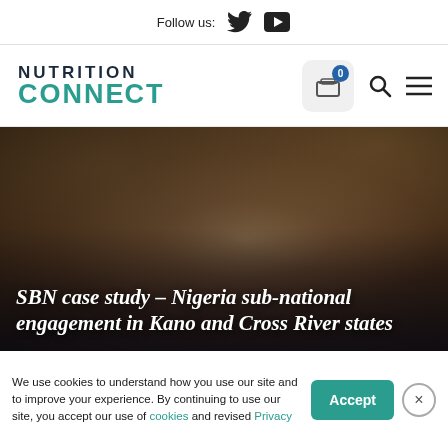Follow us:
[Figure (logo): Nutrition Connect logo with teal CONNECT text]
[Figure (photo): Child raising hand outdoors, blurred colorful background]
SBN case study – Nigeria sub-national engagement in Kano and Cross River states
We use cookies to understand how you use our site and to improve your experience. By continuing to use our site, you accept our use of cookies and revised Privacy